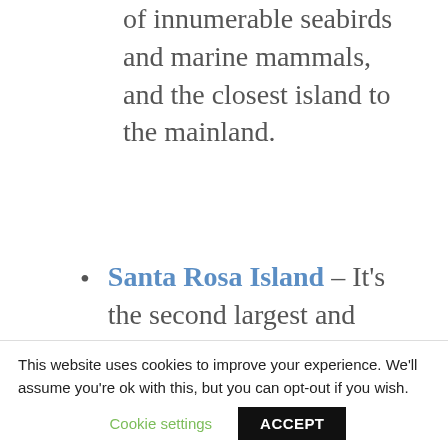of innumerable seabirds and marine mammals, and the closest island to the mainland.
Santa Rosa Island – It's the second largest and most consistently windy of the islands but attracts day trip and overnight visitors with its white sand beaches. Santa Rosa made headlines this
This website uses cookies to improve your experience. We'll assume you're ok with this, but you can opt-out if you wish.
Cookie settings   ACCEPT